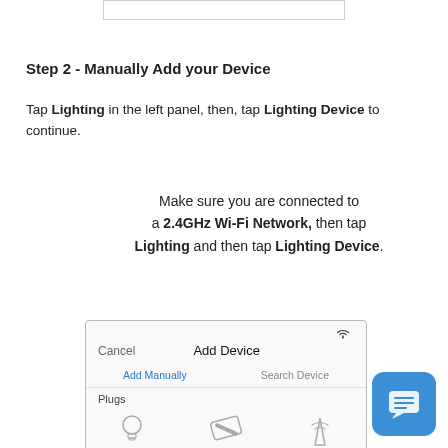[Figure (screenshot): Partial screenshot showing a bordered rectangle at the top of the page]
Step 2 - Manually Add your Device
Tap Lighting in the left panel, then, tap Lighting Device to continue.
Make sure you are connected to a 2.4GHz Wi-Fi Network, then tap Lighting and then tap Lighting Device.
[Figure (screenshot): App screenshot showing Add Device screen with Cancel button, Add Manually and Search Device tabs, and Plugs section with device icons]
[Figure (other): Blue chat/message button in bottom right corner]